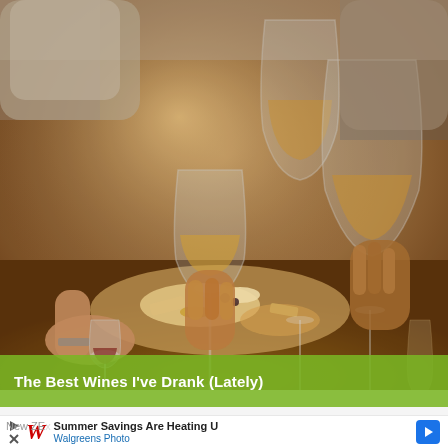[Figure (photo): Multiple hands clinking wine glasses together over a table with cheese and food, celebrating a toast. Warm brown tones, close-up shot of hands holding various wine glasses filled with wine.]
The Best Wines I've Drank (Lately)
[Figure (infographic): Advertisement banner for Walgreens Photo: 'Summer Savings Are Heating U / Walgreens Photo' with Walgreens W logo and a blue arrow button. Partial text 'New ZE' visible at bottom left.]